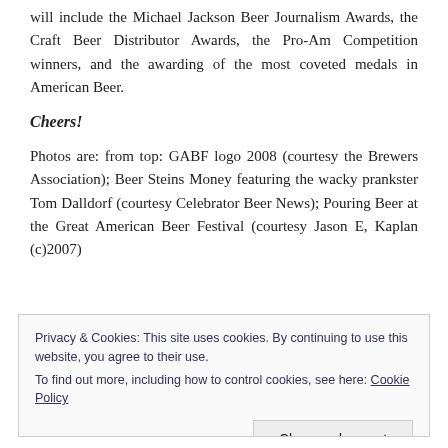will include the Michael Jackson Beer Journalism Awards, the Craft Beer Distributor Awards, the Pro-Am Competition winners, and the awarding of the most coveted medals in American Beer.
Cheers!
Photos are: from top: GABF logo 2008 (courtesy the Brewers Association); Beer Steins Money featuring the wacky prankster Tom Dalldorf (courtesy Celebrator Beer News); Pouring Beer at the Great American Beer Festival (courtesy Jason E, Kaplan (c)2007)
Privacy & Cookies: This site uses cookies. By continuing to use this website, you agree to their use.
To find out more, including how to control cookies, see here: Cookie Policy
Close and accept